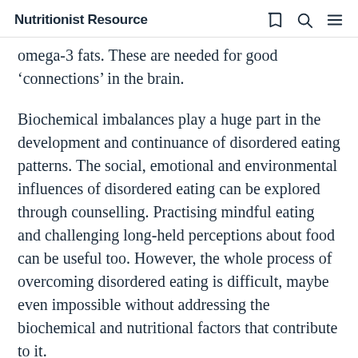Nutritionist Resource
omega-3 fats. These are needed for good ‘connections’ in the brain.
Biochemical imbalances play a huge part in the development and continuance of disordered eating patterns. The social, emotional and environmental influences of disordered eating can be explored through counselling. Practising mindful eating and challenging long-held perceptions about food can be useful too. However, the whole process of overcoming disordered eating is difficult, maybe even impossible without addressing the biochemical and nutritional factors that contribute to it.